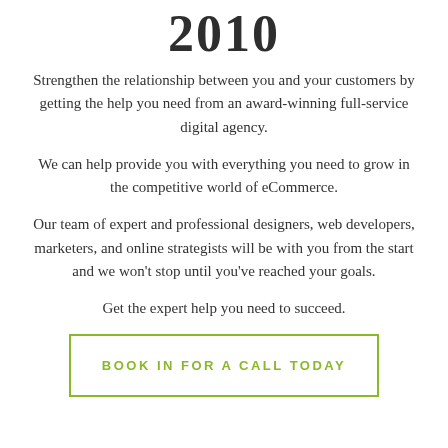2010
Strengthen the relationship between you and your customers by getting the help you need from an award-winning full-service digital agency.
We can help provide you with everything you need to grow in the competitive world of eCommerce.
Our team of expert and professional designers, web developers, marketers, and online strategists will be with you from the start and we won’t stop until you’ve reached your goals.
Get the expert help you need to succeed.
BOOK IN FOR A CALL TODAY